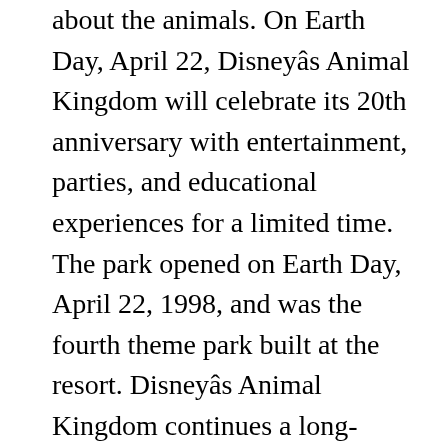about the animals. On Earth Day, April 22, Disneyâs Animal Kingdom will celebrate its 20th anniversary with entertainment, parties, and educational experiences for a limited time. The park opened on Earth Day, April 22, 1998, and was the fourth theme park built at the resort. Disneyâs Animal Kingdom continues a long-standing legacy began by Walt himself. This attraction is great for all ages and provides a great opportunity to explore and live part of the movie, Swiss Family Robinson. See salaries, compare reviews, easily apply, and get hired. As it just so happens, the Animal Kingdom version of Discovery Island just welcomed José Carioca and Panchito Pistoles to its premises in